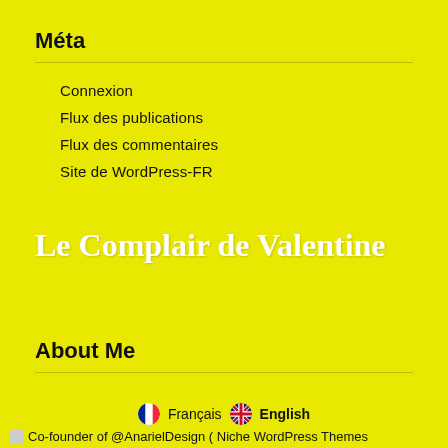Méta
Connexion
Flux des publications
Flux des commentaires
Site de WordPress-FR
Le Complair de Valentine
About Me
Co-founder of @AnarielDesign ( Niche WordPress Themes